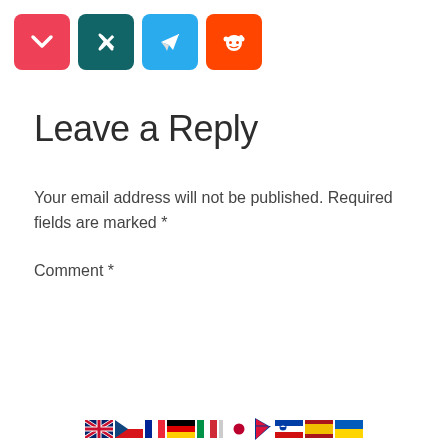[Figure (infographic): Four social share icon buttons: Pocket (red), Xing (teal), Telegram (blue), Reddit (orange-red)]
Leave a Reply
Your email address will not be published. Required fields are marked *
Comment *
[Figure (other): Comment textarea input box with country flag icons along the bottom: UK, Czech Republic, France, Germany, Italy, Japan, Nepal, Slovenia, Spain, Ukraine]